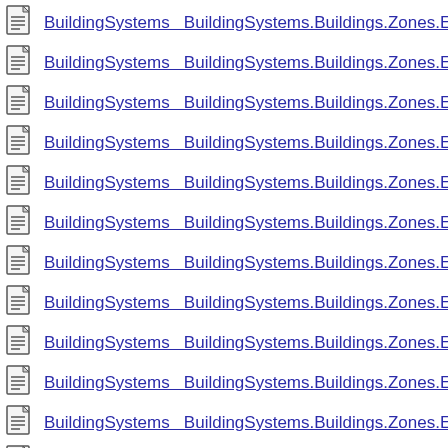BuildingSystems  BuildingSystems.Buildings.Zones.Examples.S
BuildingSystems  BuildingSystems.Buildings.Zones.Examples.S
BuildingSystems  BuildingSystems.Buildings.Zones.Examples.S
BuildingSystems  BuildingSystems.Buildings.Zones.Examples.S
BuildingSystems  BuildingSystems.Buildings.Zones.Examples.S
BuildingSystems  BuildingSystems.Buildings.Zones.Examples.S
BuildingSystems  BuildingSystems.Buildings.Zones.Examples.S
BuildingSystems  BuildingSystems.Buildings.Zones.Examples.S
BuildingSystems  BuildingSystems.Buildings.Zones.Examples.S
BuildingSystems  BuildingSystems.Buildings.Zones.Examples.S
BuildingSystems  BuildingSystems.Buildings.Zones.Examples.S
BuildingSystems  BuildingSystems.Climate.Examples.TiledB